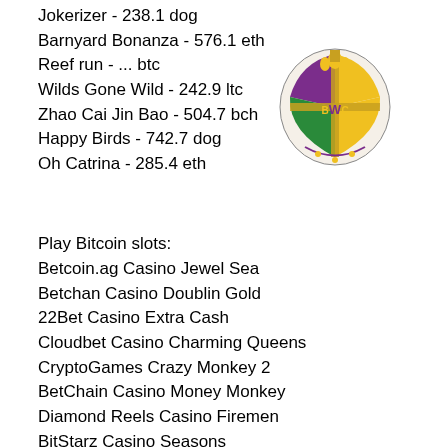Jokerizer - 238.1 dog
Barnyard Bonanza - 576.1 eth
Reef run - ... btc
Wilds Gone Wild - 242.9 ltc
Zhao Cai Jin Bao - 504.7 bch
Happy Birds - 742.7 dog
Oh Catrina - 285.4 eth
Play Bitcoin slots:
Betcoin.ag Casino Jewel Sea
Betchan Casino Doublin Gold
22Bet Casino Extra Cash
Cloudbet Casino Charming Queens
CryptoGames Crazy Monkey 2
BetChain Casino Money Monkey
Diamond Reels Casino Firemen
BitStarz Casino Seasons
CryptoWild Casino Magic Destiny
Syndicate Casino Gnome Sweet Home
BitcoinCasino.us Crazy Monkey